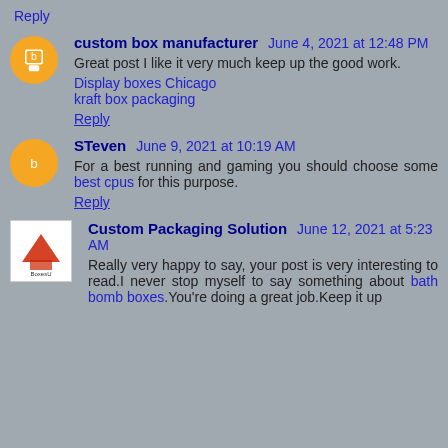Reply
custom box manufacturer June 4, 2021 at 12:48 PM
Great post I like it very much keep up the good work.
Display boxes Chicago
kraft box packaging
Reply
STeven June 9, 2021 at 10:19 AM
For a best running and gaming you should choose some best cpus for this purpose.
Reply
Custom Packaging Solution June 12, 2021 at 5:23 AM
Really very happy to say, your post is very interesting to read.I never stop myself to say something about bath bomb boxes.You're doing a great job.Keep it up